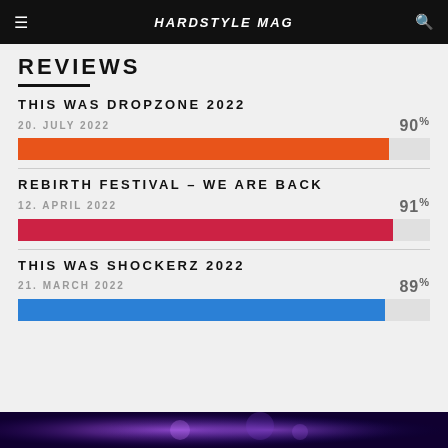HARDSTYLE MAG
REVIEWS
THIS WAS DROPZONE 2022
20. JULY 2022
[Figure (bar-chart): THIS WAS DROPZONE 2022]
REBIRTH FESTIVAL – WE ARE BACK
12. APRIL 2022
[Figure (bar-chart): REBIRTH FESTIVAL – WE ARE BACK]
THIS WAS SHOCKERZ 2022
21. MARCH 2022
[Figure (bar-chart): THIS WAS SHOCKERZ 2022]
[Figure (photo): Purple and blue concert/festival scene at the bottom of the page]